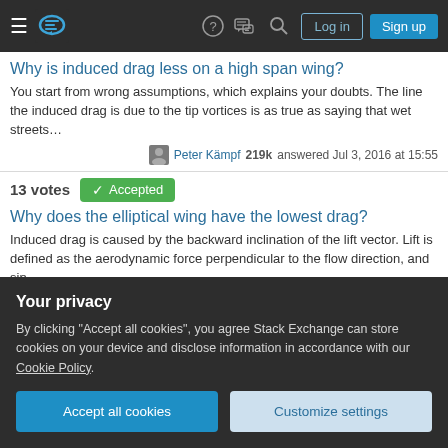Navigation bar with hamburger menu, logo, help, chat, search, Log in, Sign up buttons
Why is induced drag less on a high span wing?
You start from wrong assumptions, which explains your doubts. The line the induced drag is due to the tip vortices is as true as saying that wet streets…
Peter Kämpf 219k answered Jul 3, 2016 at 15:55
13 votes  ✓ Accepted
Why does the elliptical wing have the lowest drag?
Induced drag is caused by the backward inclination of the lift vector. Lift is defined as the aerodynamic force perpendicular to the flow direction, and sin…
Peter Kämpf 219k answered Oct 2, 2016 at 20:45
13 votes
Your privacy
By clicking "Accept all cookies", you agree Stack Exchange can store cookies on your device and disclose information in accordance with our Cookie Policy.
Accept all cookies  Customize settings
13 votes